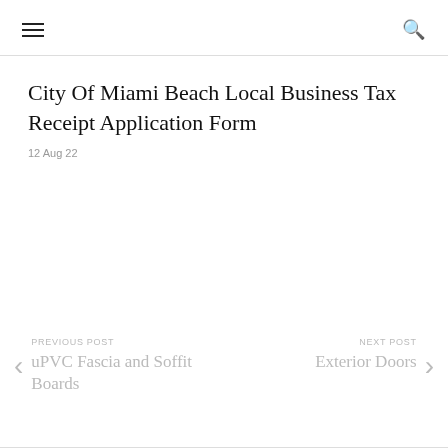≡  🔍
City Of Miami Beach Local Business Tax Receipt Application Form
12 Aug 22
PREVIOUS POST
uPVC Fascia and Soffit Boards
NEXT POST
Exterior Doors